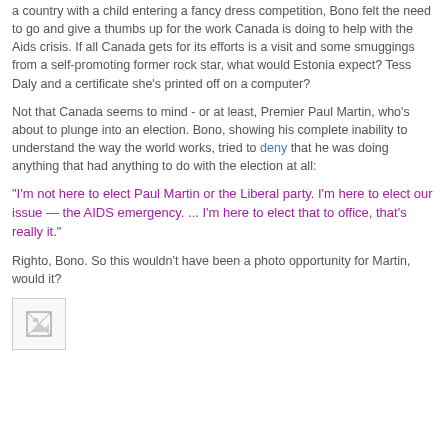a country with a child entering a fancy dress competition, Bono felt the need to go and give a thumbs up for the work Canada is doing to help with the Aids crisis. If all Canada gets for its efforts is a visit and some smuggings from a self-promoting former rock star, what would Estonia expect? Tess Daly and a certificate she's printed off on a computer?
Not that Canada seems to mind - or at least, Premier Paul Martin, who's about to plunge into an election. Bono, showing his complete inability to understand the way the world works, tried to deny that he was doing anything that had anything to do with the election at all:
"I'm not here to elect Paul Martin or the Liberal party. I'm here to elect our issue — the AIDS emergency. ... I'm here to elect that to office, that's really it."
Righto, Bono. So this wouldn't have been a photo opportunity for Martin, would it?
[Figure (other): Broken image placeholder thumbnail]